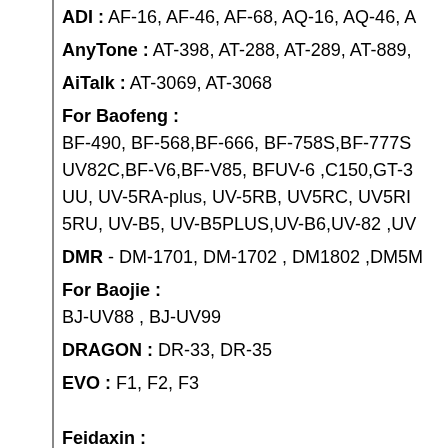ADI : AF-16, AF-46, AF-68, AQ-16, AQ-46, A…
AnyTone : AT-398, AT-288, AT-289, AT-889,…
AiTalk : AT-3069, AT-3068
For Baofeng : BF-490, BF-568,BF-666, BF-758S,BF-777S… UV82C,BF-V6,BF-V85, BFUV-6 ,C150,GT-3… UU, UV-5RA-plus, UV-5RB, UV5RC, UV5RI… 5RU, UV-B5, UV-B5PLUS,UV-B6,UV-82 ,UV…
DMR - DM-1701, DM-1702 , DM1802 ,DM5M…
For Baojie : BJ-UV88 , BJ-UV99
DRAGON : DR-33, DR-35
EVO : F1, F2, F3
Feidaxin :